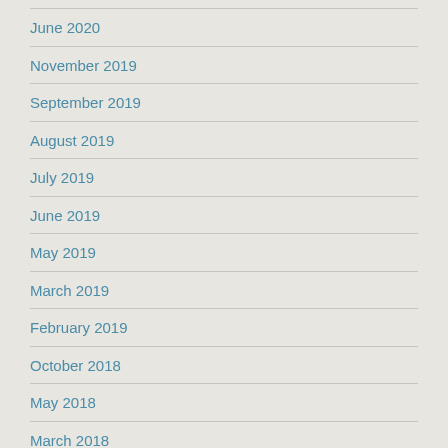June 2020
November 2019
September 2019
August 2019
July 2019
June 2019
May 2019
March 2019
February 2019
October 2018
May 2018
March 2018
November 2017
September 2017